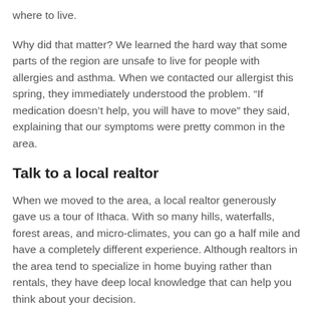where to live.
Why did that matter? We learned the hard way that some parts of the region are unsafe to live for people with allergies and asthma. When we contacted our allergist this spring, they immediately understood the problem. “If medication doesn’t help, you will have to move” they said, explaining that our symptoms were pretty common in the area.
Talk to a local realtor
When we moved to the area, a local realtor generously gave us a tour of Ithaca. With so many hills, waterfalls, forest areas, and micro-climates, you can go a half mile and have a completely different experience. Although realtors in the area tend to specialize in home buying rather than rentals, they have deep local knowledge that can help you think about your decision.